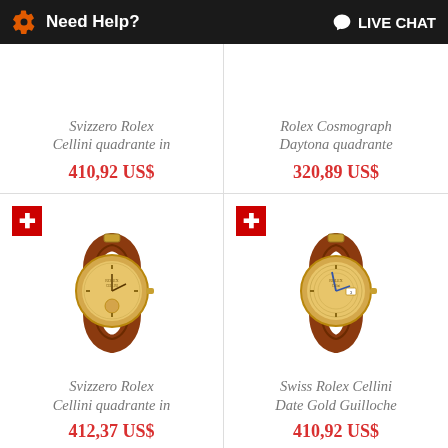Need Help?  LIVE CHAT
Svizzero Rolex Cellini quadrante in
410,92 US$
Rolex Cosmograph Daytona quadrante
320,89 US$
[Figure (photo): Svizzero Rolex Cellini watch with gold case and brown leather strap]
Svizzero Rolex Cellini quadrante in
412,37 US$
[Figure (photo): Swiss Rolex Cellini Date Gold Guilloche watch with gold case and brown leather strap]
Swiss Rolex Cellini Date Gold Guilloche
410,92 US$